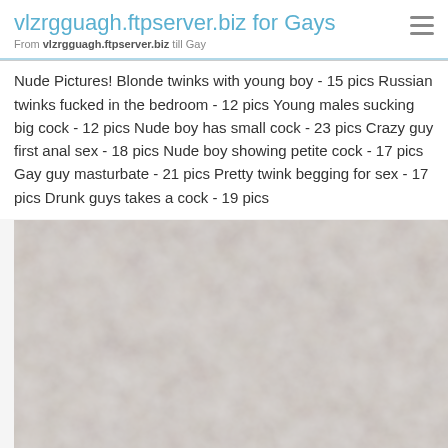vlzrgguagh.ftpserver.biz for Gays
From vlzrgguagh.ftpserver.biz till Gay
Nude Pictures! Blonde twinks with young boy - 15 pics Russian twinks fucked in the bedroom - 12 pics Young males sucking big cock - 12 pics Nude boy has small cock - 23 pics Crazy guy first anal sex - 18 pics Nude boy showing petite cock - 17 pics Gay guy masturbate - 21 pics Pretty twink begging for sex - 17 pics Drunk guys takes a cock - 19 pics
[Figure (photo): Blurred/obscured grayish-brown photographic image, no discernible subject visible]